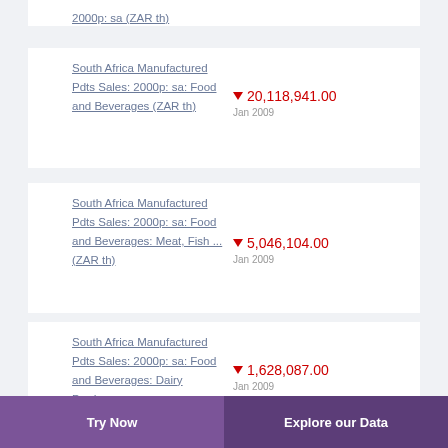2000p: sa (ZAR th)
South Africa Manufactured Pdts Sales: 2000p: sa: Food and Beverages (ZAR th) ▼ 20,118,941.00 Jan 2009
South Africa Manufactured Pdts Sales: 2000p: sa: Food and Beverages: Meat, Fish ... (ZAR th) ▼ 5,046,104.00 Jan 2009
South Africa Manufactured Pdts Sales: 2000p: sa: Food and Beverages: Dairy Produ... ▼ 1,628,087.00 Jan 2009
Try Now   Explore our Data